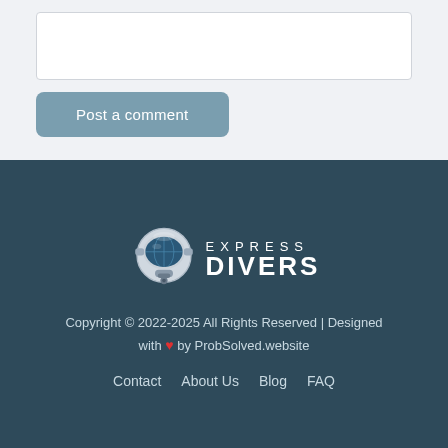[Figure (other): Comment text input box (white rectangle)]
Post a comment
[Figure (logo): Express Divers logo with scuba mask icon and text EXPRESS DIVERS]
Copyright © 2022-2025 All Rights Reserved | Designed with ❤ by ProbSolved.website
Contact | About Us | Blog | FAQ